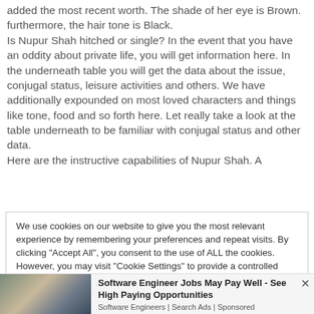added the most recent worth. The shade of her eye is Brown. furthermore, the hair tone is Black.
Is Nupur Shah hitched or single? In the event that you have an oddity about private life, you will get information here. In the underneath table you will get the data about the issue, conjugal status, leisure activities and others. We have additionally expounded on most loved characters and things like tone, food and so forth here. Let really take a look at the table underneath to be familiar with conjugal status and other data.
Here are the instructive capabilities of Nupur Shah. A
We use cookies on our website to give you the most relevant experience by remembering your preferences and repeat visits. By clicking "Accept All", you consent to the use of ALL the cookies. However, you may visit "Cookie Settings" to provide a controlled consent.
[Figure (photo): Photo of a woman with red hair sitting at a desk with computer monitors showing code/screens in the background]
Software Engineer Jobs May Pay Well - See High Paying Opportunities
Software Engineers | Search Ads | Sponsored